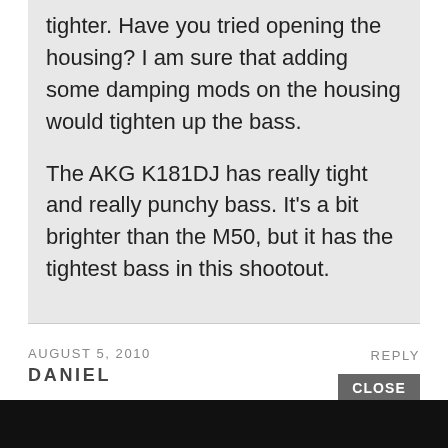tighter. Have you tried opening the housing? I am sure that adding some damping mods on the housing would tighten up the bass.

The AKG K181DJ has really tight and really punchy bass. It's a bit brighter than the M50, but it has the tightest bass in this shootout.
AUGUST 5, 2010
REPLY
DANIEL
Mike, thank you for the review. This website is just